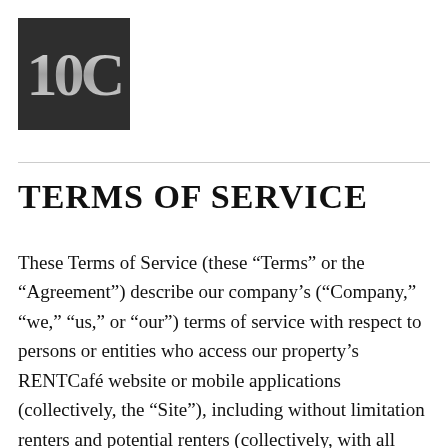[Figure (logo): Dark square logo with stylized '10C' monogram in silver/grey metallic text on dark charcoal background]
TERMS OF SERVICE
These Terms of Service (these “Terms” or the “Agreement”) describe our company’s (“Company,” “we,” “us,” or “our”) terms of service with respect to persons or entities who access our property’s RENTCafé website or mobile applications (collectively, the “Site”), including without limitation renters and potential renters (collectively, with all persons or entities who access the Site, “Users,” “you,” or “your”).  To access the Terms of